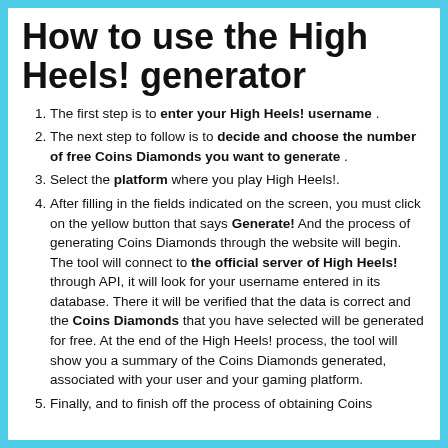How to use the High Heels! generator
The first step is to enter your High Heels! username .
The next step to follow is to decide and choose the number of free Coins Diamonds you want to generate .
Select the platform where you play High Heels!.
After filling in the fields indicated on the screen, you must click on the yellow button that says Generate! And the process of generating Coins Diamonds through the website will begin. The tool will connect to the official server of High Heels! through API, it will look for your username entered in its database. There it will be verified that the data is correct and the Coins Diamonds that you have selected will be generated for free. At the end of the High Heels! process, the tool will show you a summary of the Coins Diamonds generated, associated with your user and your gaming platform.
Finally, and to finish off the process of obtaining Coins